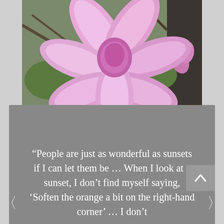[Figure (photo): Close-up photograph of a pink magnolia flower in bloom, with branches and green foliage visible in the background.]
“People are just as wonderful as sunsets if I can let them be … When I look at a sunset, I don’t find myself saying, ‘Soften the orange a bit on the right-hand corner’ … I don’t